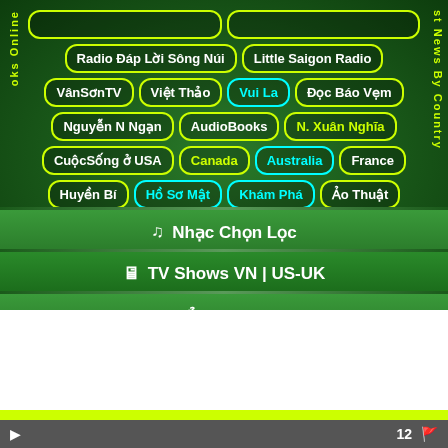[Figure (screenshot): Vietnamese media app interface with green background showing navigation buttons in Vietnamese and English, and menu bars for music, TV shows, and sports]
Radio Đáp Lời Sông Núi
Little Saigon Radio
VânSơnTV
Việt Thảo
Vui La
Đọc Báo Vẹm
Nguyễn N Ngạn
AudioBooks
N. Xuân Nghĩa
CuộcSống ở USA
Canada
Australia
France
Huyền Bí
Hồ Sơ Mật
Khám Phá
Ảo Thuật
♫ Nhạc Chọn Lọc
🖥 TV Shows VN | US-UK
⊕ Thể Thao | Sports
12